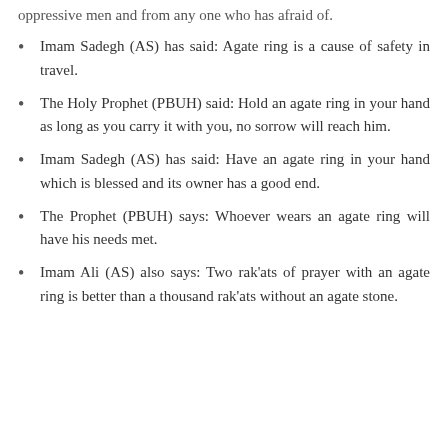oppressive men and from any one who has afraid of.
Imam Sadegh (AS) has said: Agate ring is a cause of safety in travel.
The Holy Prophet (PBUH) said: Hold an agate ring in your hand as long as you carry it with you, no sorrow will reach him.
Imam Sadegh (AS) has said: Have an agate ring in your hand which is blessed and its owner has a good end.
The Prophet (PBUH) says: Whoever wears an agate ring will have his needs met.
Imam Ali (AS) also says: Two rak'ats of prayer with an agate ring is better than a thousand rak'ats without an agate stone.